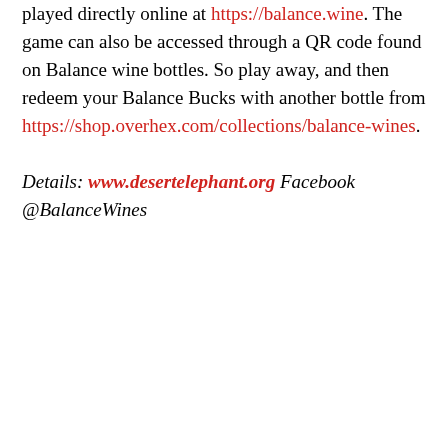played directly online at https://balance.wine. The game can also be accessed through a QR code found on Balance wine bottles. So play away, and then redeem your Balance Bucks with another bottle from https://shop.overhex.com/collections/balance-wines.
Details: www.desertelephant.org Facebook @BalanceWines